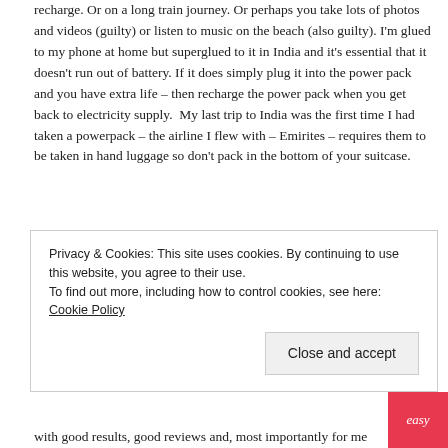recharge. Or on a long train journey. Or perhaps you take lots of photos and videos (guilty) or listen to music on the beach (also guilty). I'm glued to my phone at home but superglued to it in India and it's essential that it doesn't run out of battery. If it does simply plug it into the power pack and you have extra life – then recharge the power pack when you get back to electricity supply.  My last trip to India was the first time I had taken a powerpack – the airline I flew with – Emirites – requires them to be taken in hand luggage so don't pack in the bottom of your suitcase.
4. Camera
Number four of the top ten items for india is a good camera. My tip – buy a memory card with as large a memory as you can afford like this
Privacy & Cookies: This site uses cookies. By continuing to use this website, you agree to their use.
To find out more, including how to control cookies, see here: Cookie Policy
with good results, good reviews and, most importantly for me easy